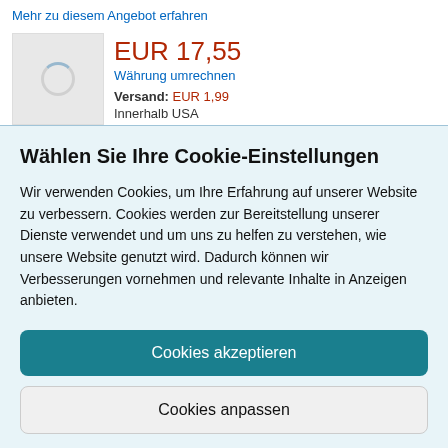Mehr zu diesem Angebot erfahren
EUR 17,55
Währung umrechnen
Versand: EUR 1,99
Innerhalb USA
Wählen Sie Ihre Cookie-Einstellungen
Wir verwenden Cookies, um Ihre Erfahrung auf unserer Website zu verbessern. Cookies werden zur Bereitstellung unserer Dienste verwendet und um uns zu helfen zu verstehen, wie unsere Website genutzt wird. Dadurch können wir Verbesserungen vornehmen und relevante Inhalte in Anzeigen anbieten.
Cookies akzeptieren
Cookies anpassen